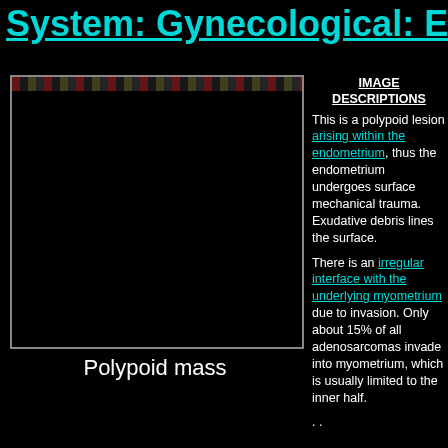System: Gynecological: Endo
[Figure (photo): Microscopic histology image showing a polypoid mass, predominantly black/dark background with a thin colored bar at the top.]
Polypoid mass
IMAGE DESCRIPTIONS
This is a polypoid lesion arising within the endometrium, thus the endometrium undergoes surface mechanical trauma. Exudative debris lines the surface.

There is an irregular interface with the underlying myometrium due to invasion. Only about 15% of all adenosarcomas invade into myometrium, which is usually limited to the inner half.